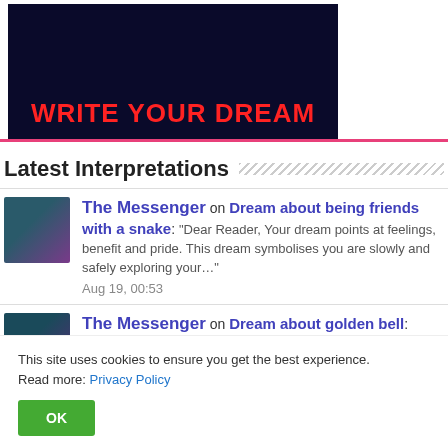[Figure (illustration): Dark blue/black background banner with open book and text 'WRITE YOUR DREAM' in bold red letters]
Latest Interpretations
The Messenger on Dream about being friends with a snake: "Dear Reader, Your dream points at feelings, benefit and pride. This dream symbolises you are slowly and safely exploring your…" Aug 19, 00:53
The Messenger on Dream about golden bell: "Dear Reader, Your dream signals marriage, action…
This site uses cookies to ensure you get the best experience. Read more: Privacy Policy